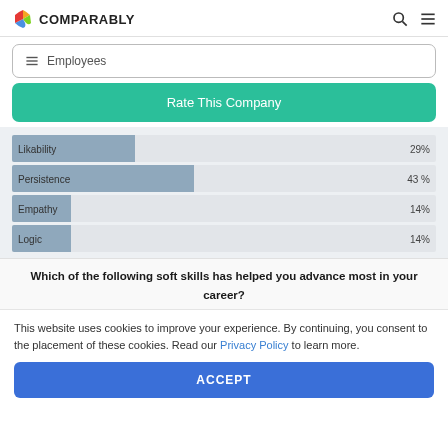COMPARABLY
Employees
Rate This Company
[Figure (bar-chart): Soft skills chart]
Which of the following soft skills has helped you advance most in your career?
This website uses cookies to improve your experience. By continuing, you consent to the placement of these cookies. Read our Privacy Policy to learn more.
ACCEPT